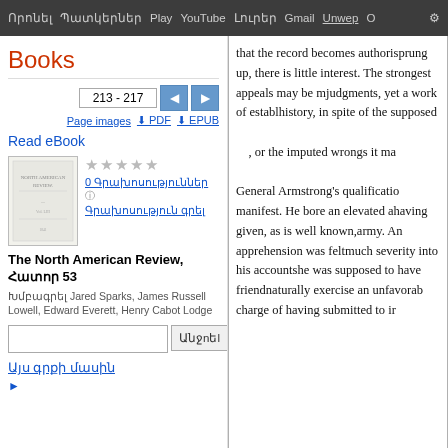Որոնել  Պատկերներ  Play  YouTube  Լուրեր  Gmail  Unwep  O  ⚙
Books
213 - 217
Page images  ⬇ PDF  ⬇ EPUB
Read eBook
[Figure (illustration): Book cover thumbnail for The North American Review]
0 Գրախոսություններ
Գրախոսություն գրել
The North American Review, Հատոր 53
Խմբագրել Jared Sparks, James Russell Lowell, Edward Everett, Henry Cabot Lodge
Այս գրքի մասին
that the record becomes authori… sprung up, there is little interest… The strongest appeals may be m… judgments, yet a work of establ… history, in spite of the supposed…
, or the imputed wrongs it ma…
General Armstrong's qualificatio… manifest. He bore an elevated a… having given, as is well known,… army. An apprehension was felt… much severity into his accounts… he was supposed to have friend… naturally exercise an unfavorab… charge of having submitted to ir…